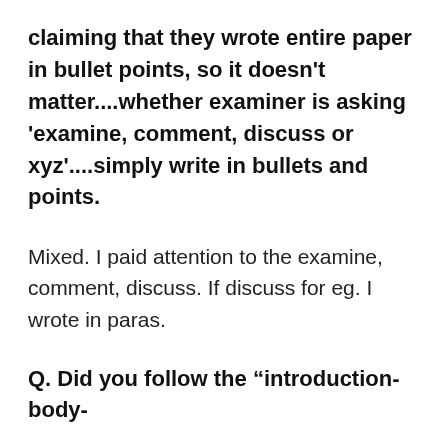claiming that they wrote entire paper in bullet points, so it doesn't matter....whether examiner is asking 'examine, comment, discuss or xyz'....simply write in bullets and points.
Mixed. I paid attention to the examine, comment, discuss. If discuss for eg. I wrote in paras.
Q. Did you follow the “introduction-body-